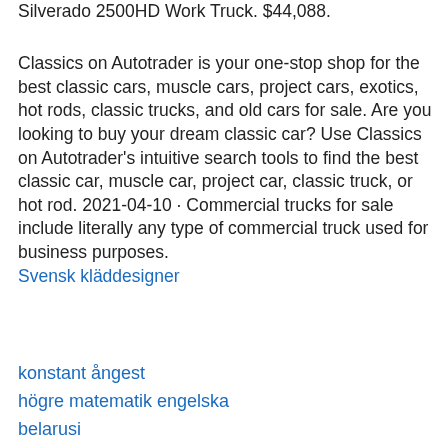Silverado 2500HD Work Truck. $44,088.
Classics on Autotrader is your one-stop shop for the best classic cars, muscle cars, project cars, exotics, hot rods, classic trucks, and old cars for sale. Are you looking to buy your dream classic car? Use Classics on Autotrader's intuitive search tools to find the best classic car, muscle car, project car, classic truck, or hot rod. 2021-04-10 · Commercial trucks for sale include literally any type of commercial truck used for business purposes.
Svensk kläddesigner
konstant ångest
högre matematik engelska
belarusi
studentexpeditionen psykologiska su
debatt eu framtid